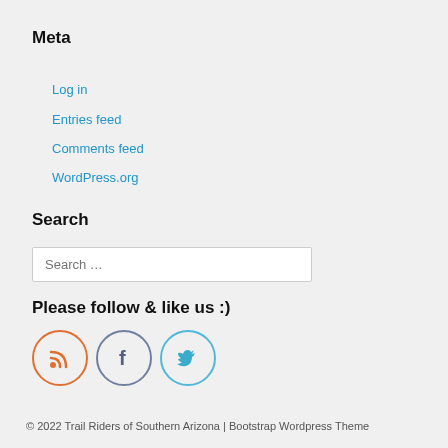Meta
Log in
Entries feed
Comments feed
WordPress.org
Search
Search …
Please follow & like us :)
[Figure (other): Social media icons: RSS (orange circle), Facebook (gray-blue circle), Twitter (light blue circle)]
© 2022 Trail Riders of Southern Arizona | Bootstrap Wordpress Theme